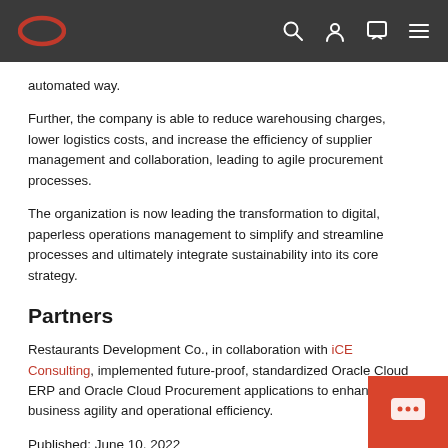Oracle navbar with logo and icons
automated way.
Further, the company is able to reduce warehousing charges, lower logistics costs, and increase the efficiency of supplier management and collaboration, leading to agile procurement processes.
The organization is now leading the transformation to digital, paperless operations management to simplify and streamline processes and ultimately integrate sustainability into its core strategy.
Partners
Restaurants Development Co., in collaboration with iCE Consulting, implemented future-proof, standardized Oracle Cloud ERP and Oracle Cloud Procurement applications to enhance business agility and operational efficiency.
Published:  June 10, 2022